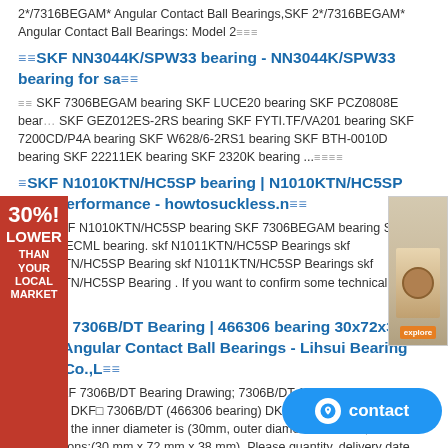2*/7316BEGAM* Angular Contact Ball Bearings,SKF 2*/7316BEGAM* Angular Contact Ball Bearings: Model 2≡≡≡
≡≡SKF NN3044K/SPW33 bearing - NN3044K/SPW33 bearing for sa≡≡
≡≡ SKF 7306BEGAM bearing SKF LUCE20 bearing SKF PCZ0808E bearing SKF GEZ012ES-2RS bearing SKF FYTI.TF/VA201 bearing SKF 7200CD/P4A bearing SKF W628/6-2RS1 bearing SKF BTH-0010D bearing SKF 22211EK bearing SKF 2320K bearing ...≡≡≡≡
≡SKF N1010KTN/HC5SP bearing | N1010KTN/HC5SP High performance - howtosuckless.n≡≡
≡≡≡≡ SKF N1010KTN/HC5SP bearing SKF 7306BEGAM bearing SKF NUP309ECML bearing. skf N1011KTN/HC5SP Bearings skf N1011KTN/HC5SP Bearing skf N1011KTN/HC5SP Bearings skf N1011KTN/HC5SP Bearing . If you want to confirm some technical Then ...≡≡≡
≡≡DKF 7306B/DT Bearing | 466306 bearing 30x72x38 Size - Angular Contact Ball Bearings - Lihsui Bearing Trade Co.,L≡≡
≡≡≡≡ DKF 7306B/DT Bearing Drawing; 7306B/DT Angular Contact Ball Bearings DKF□ 7306B/DT (466306 bearing) DKF Angular Contact Ball Bearings the inner diameter is (30mm, outer diameter is 38mm, Demensions:(30 mm x 72 mm x 38 mm), Please quantity, delivery date, and other requirements ≡≡≡